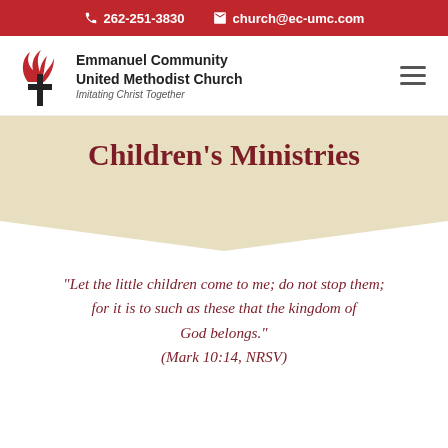262-251-3830  church@ec-umc.com
[Figure (logo): Emmanuel Community United Methodist Church logo with cross and flame symbol. Text: Emmanuel Community United Methodist Church, Imitating Christ Together]
Children's Ministries
“Let the little children come to me; do not stop them; for it is to such as these that the kingdom of God belongs.” (Mark 10:14, NRSV)